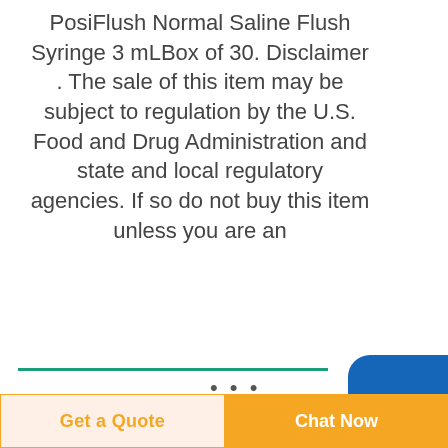PosiFlush Normal Saline Flush Syringe 3 mLBox of 30. Disclaimer . The sale of this item may be subject to regulation by the U.S. Food and Drug Administration and state and local regulatory agencies. If so do not buy this item unless you are an
[Figure (photo): Medical device on blue background - appears to be a catheter or IV tubing with syringe]
[Figure (photo): White/purple medical connector device on white background with teal border]
...
BD supplies greater
Get a Quote   Chat Now